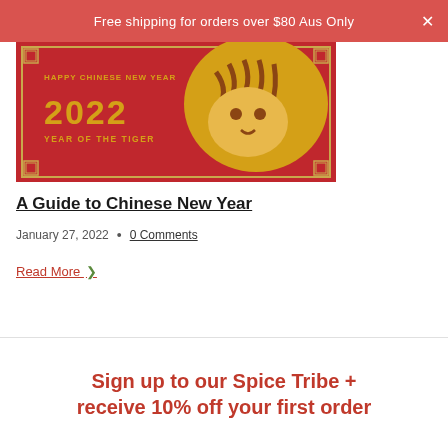Free shipping for orders over $80 Aus Only
[Figure (illustration): Chinese New Year 2022 Year of the Tiger decorative banner with red background, gold text reading 'Happy Chinese New Year 2022 Year of the Tiger' and a golden tiger illustration]
A Guide to Chinese New Year
January 27, 2022 · 0 Comments
Read More >
Sign up to our Spice Tribe + receive 10% off your first order